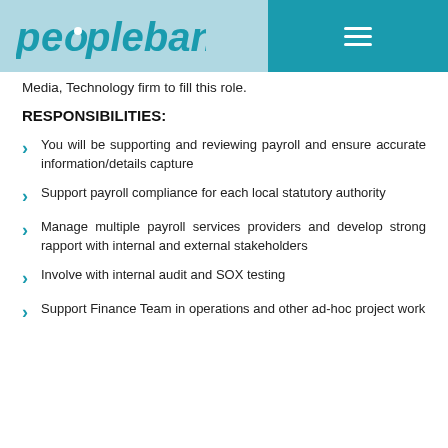peoplebank
Media, Technology firm to fill this role.
RESPONSIBILITIES:
You will be supporting and reviewing payroll and ensure accurate information/details capture
Support payroll compliance for each local statutory authority
Manage multiple payroll services providers and develop strong rapport with internal and external stakeholders
Involve with internal audit and SOX testing
Support Finance Team in operations and other ad-hoc project work